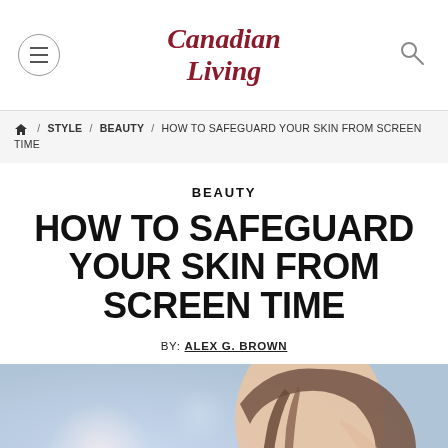Canadian Living
HOME / STYLE / BEAUTY / HOW TO SAFEGUARD YOUR SKIN FROM SCREEN TIME
BEAUTY
HOW TO SAFEGUARD YOUR SKIN FROM SCREEN TIME
BY: ALEX G. BROWN
[Figure (photo): Close-up photo of a young Asian woman looking downward, with soft bokeh background in blue and pink tones, straight dark hair falling across her face.]